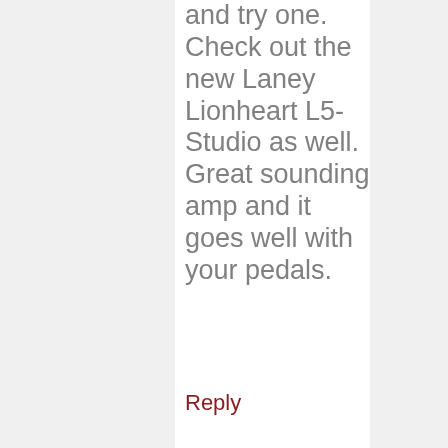and try one. Check out the new Laney Lionheart L5-Studio as well. Great sounding amp and it goes well with your pedals.
Reply